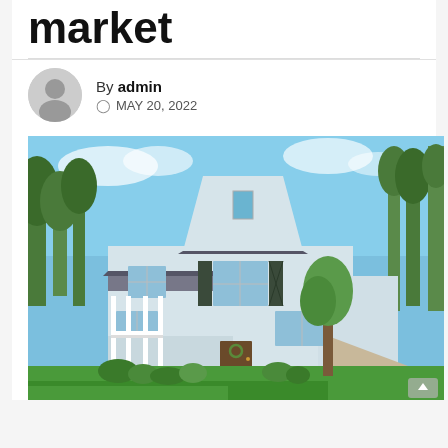market
By admin
MAY 20, 2022
[Figure (photo): Exterior photo of a light blue/gray two-story farmhouse-style home with steep gabled roof, dark shutters, covered front porch with white railings and stairs, surrounded by green trees, manicured lawn, and landscaping, with a driveway on the right side.]